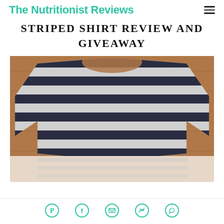The Nutritionist Reviews
STRIPED SHIRT REVIEW AND GIVEAWAY
[Figure (photo): A navy and grey horizontal striped shirt laid flat on a wood floor, photographed from above. The shirt has a boat neck and appears to be a casual long-sleeve or 3/4 sleeve style. The lower portion of the image shows a faded reflection or shadow of the shirt.]
Social share icons: Pinterest, Facebook, Email, Twitter, WhatsApp